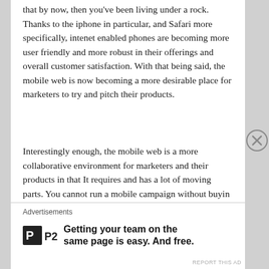that by now, then you've been living under a rock. Thanks to the iphone in particular,  and Safari more specifically, intenet enabled phones are becoming more user friendly and more robust in their offerings and overall customer satisfaction. With that being said, the mobile web is now becoming a more desirable place for marketers to try and pitch their products.
Interestingly enough, the mobile web is a more collaborative environment for marketers and their products in that It requires and has a lot of moving parts. You cannot run a mobile campaign without buyin from multiple channel partners, multiple departments, and multiple vendors and technological entities. But truly what marketers need to know best is their consumer, their user, the person they are trying to reach through their mobile device.  Yes it's product centric, but trying to appeal to a
Advertisements
[Figure (logo): P2 logo - black square with 'P' letter and 'P2' text alongside ad text reading 'Getting your team on the same page is easy. And free.']